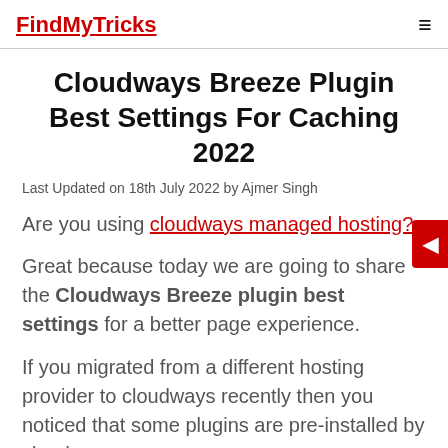FindMyTricks
Cloudways Breeze Plugin Best Settings For Caching 2022
Last Updated on 18th July 2022 by Ajmer Singh
Are you using cloudways managed hosting?
Great because today we are going to share the Cloudways Breeze plugin best settings for a better page experience.
If you migrated from a different hosting provider to cloudways recently then you noticed that some plugins are pre-installed by cloudways.